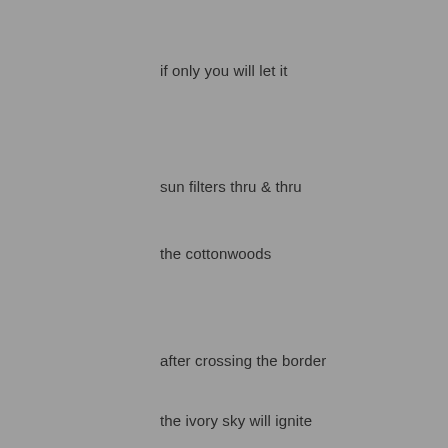if only you will let it
sun filters thru & thru
the cottonwoods
after crossing the border
the ivory sky will ignite
and should i mail you
a packet of round light(?)